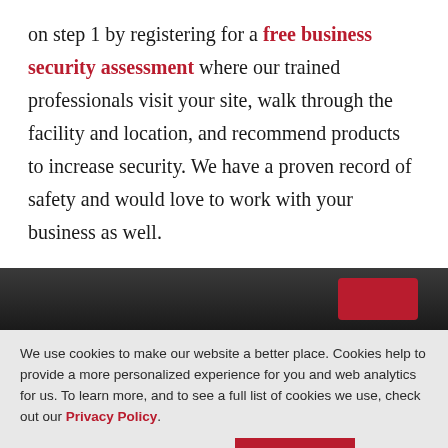on step 1 by registering for a free business security assessment where our trained professionals visit your site, walk through the facility and location, and recommend products to increase security. We have a proven record of safety and would love to work with your business as well.
[Figure (photo): Dark background photo strip showing what appears to be a building or facility with a red sign visible on the right side]
We use cookies to make our website a better place. Cookies help to provide a more personalized experience for you and web analytics for us. To learn more, and to see a full list of cookies we use, check out our Privacy Policy.
Cookie settings   ACCEPT